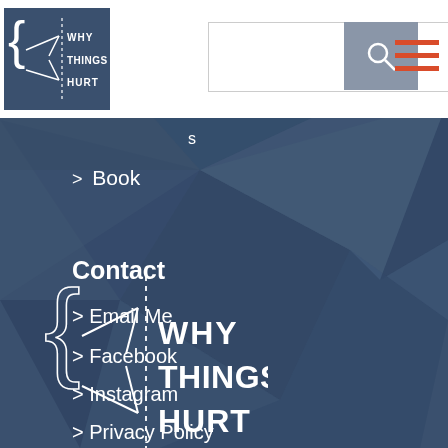[Figure (screenshot): Website navigation page screenshot with 'Why Things Hurt' logo in top left, search bar with button in header, hamburger menu icon, navigation links including Book, Contact section with Email Me, Facebook, Instagram, Privacy Policy, and large footer logo on dark blue geometric background]
WHY THINGS HURT
> Book
Contact
> Email Me
> Facebook
> Instagram
> Privacy Policy